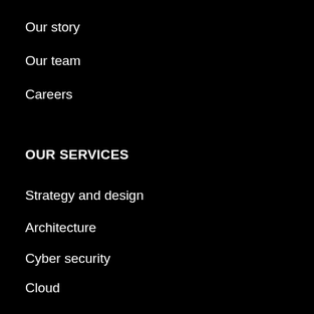Our story
Our team
Careers
OUR SERVICES
Strategy and design
Architecture
Cyber security
Cloud
Data
Engineering
INDUSTRIES